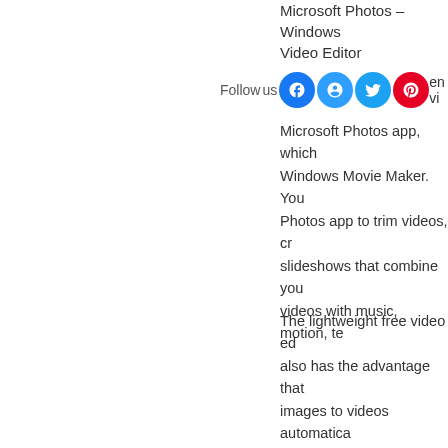Microsoft Photos – Windows Video Editor
Follow us on [social icons] en vi...
Microsoft Photos app, which Windows Movie Maker. You Photos app to trim videos, cr slideshows that combine you videos with music, motion, te
The lightweight free video ec also has the advantage that images to videos automatica Automatic Video mode. This if you want to share a video b have time to create it.